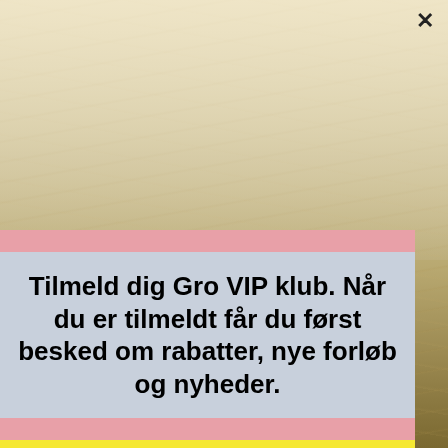[Figure (screenshot): Background image of wheat/grain field, golden-brown colors]
×
Tilmeld dig Gro VIP klub. Når du er tilmeldt får du først besked om rabatter, nye forløb og nyheder.
Ja tak - jeg vil tilmeldes og vis mig mine tilbud .